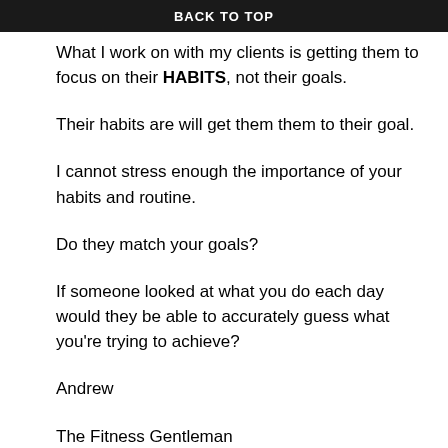BACK TO TOP
What I work on with my clients is getting them to focus on their HABITS, not their goals.
Their habits are will get them them to their goal.
I cannot stress enough the importance of your habits and routine.
Do they match your goals?
If someone looked at what you do each day would they be able to accurately guess what you're trying to achieve?
Andrew
The Fitness Gentleman
P.S. If you feel as though you are ready to move the